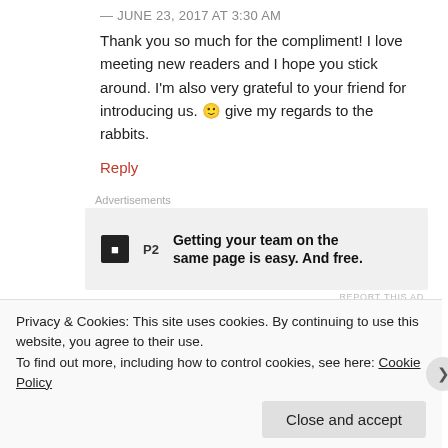— JUNE 23, 2017 AT 3:30 AM
Thank you so much for the compliment! I love meeting new readers and I hope you stick around. I'm also very grateful to your friend for introducing us. 🙂 give my regards to the rabbits.
Reply
[Figure (screenshot): Advertisement banner: P2 logo with text 'Getting your team on the same page is easy. And free.']
CW
Privacy & Cookies: This site uses cookies. By continuing to use this website, you agree to their use.
To find out more, including how to control cookies, see here: Cookie Policy
Close and accept